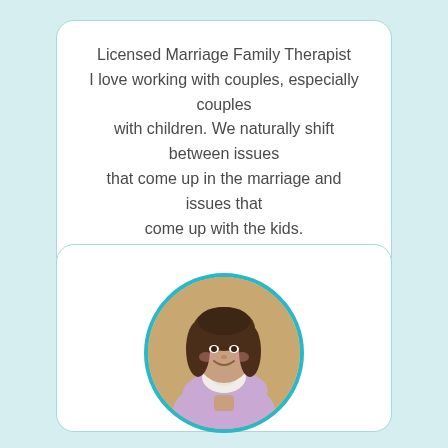Licensed Marriage Family Therapist
I love working with couples, especially couples with children. We naturally shift between issues that come up in the marriage and issues that come up with the kids.
VIEW PROFILE
[Figure (photo): Circular profile photo of Ariel Reiner, a woman with long brown hair, smiling and holding a small white puppy, wearing a lavender sweater, with a warm outdoor background.]
ariel reiner
(SHE/HER)